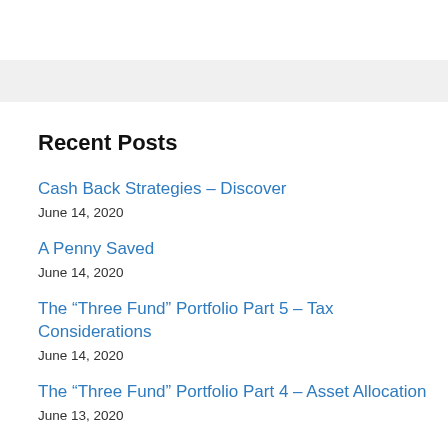Recent Posts
Cash Back Strategies – Discover
June 14, 2020
A Penny Saved
June 14, 2020
The “Three Fund” Portfolio Part 5 – Tax Considerations
June 14, 2020
The “Three Fund” Portfolio Part 4 – Asset Allocation
June 13, 2020